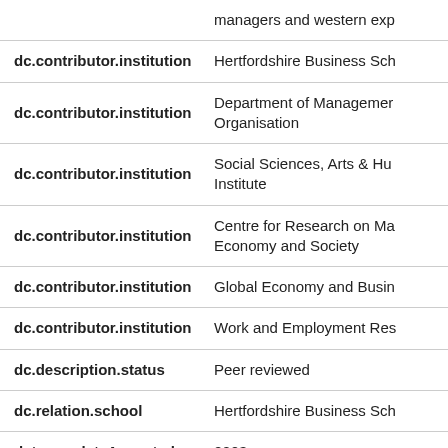| Field | Value |
| --- | --- |
|  | managers and western exp |
| dc.contributor.institution | Hertfordshire Business Sch |
| dc.contributor.institution | Department of Management Organisation |
| dc.contributor.institution | Social Sciences, Arts & Hu Institute |
| dc.contributor.institution | Centre for Research on Ma Economy and Society |
| dc.contributor.institution | Global Economy and Busin |
| dc.contributor.institution | Work and Employment Res |
| dc.description.status | Peer reviewed |
| dc.relation.school | Hertfordshire Business Sch |
| dcterms.dateAccepted | 2003 |
| rioxxterms.versionofrecord | https://doi.org/10.1016/S10 |